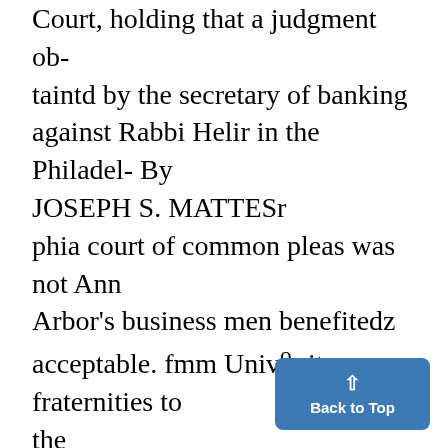Court, holding that a judgment obtained by the secretary of banking against Rabbi Helir in the Philadel- By JOSEPH S. MATTESr phia court of common pleas was not Ann Arbor's business men benefitedz acceptable. fmm Univ°r ity fraternities to the The Philadelphia judgment against extent of more than a half million Heller was obtained in April, 1933, dollars last year, according to thet for $4.712, balance due on a bo eport of the Committee on Fra